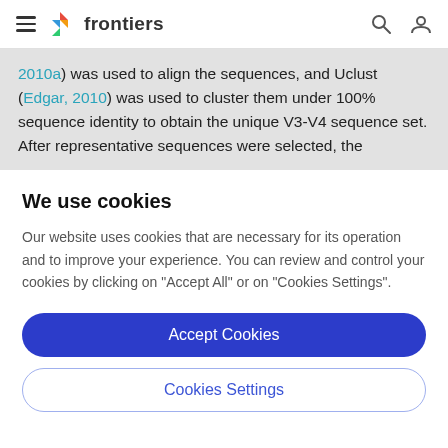frontiers
2010a) was used to align the sequences, and Uclust (Edgar, 2010) was used to cluster them under 100% sequence identity to obtain the unique V3-V4 sequence set. After representative sequences were selected, the
We use cookies
Our website uses cookies that are necessary for its operation and to improve your experience. You can review and control your cookies by clicking on "Accept All" or on "Cookies Settings".
Accept Cookies
Cookies Settings